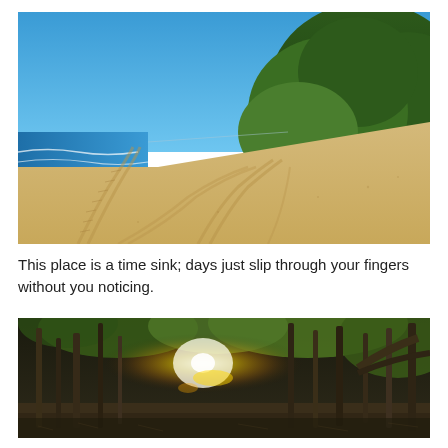[Figure (photo): Wide sandy beach with tire tracks in the sand, blue ocean waves on the left, dense green forested hillside in the upper right, clear blue sky.]
This place is a time sink; days just slip through your fingers without you noticing.
[Figure (photo): Forest scene with tall thin tree trunks, bright light flare in the center, green foliage visible, sandy/leaf-covered ground.]